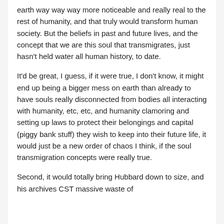earth way way way more noticeable and really real to the rest of humanity, and that truly would transform human society. But the beliefs in past and future lives, and the concept that we are this soul that transmigrates, just hasn't held water all human history, to date.
It'd be great, I guess, if it were true, I don't know, it might end up being a bigger mess on earth than already to have souls really disconnected from bodies all interacting with humanity, etc, etc, and humanity clamoring and setting up laws to protect their belongings and capital (piggy bank stuff) they wish to keep into their future life, it would just be a new order of chaos I think, if the soul transmigration concepts were really true.
Second, it would totally bring Hubbard down to size, and his archives CST massive waste of